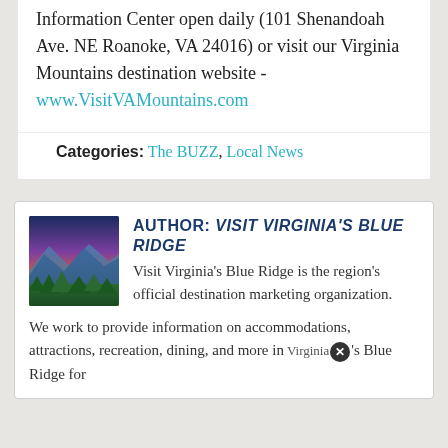Information Center open daily (101 Shenandoah Ave. NE Roanoke, VA 24016) or visit our Virginia Mountains destination website - www.VisitVAMountains.com
Categories: The BUZZ, Local News
[Figure (photo): Mountain landscape photo showing Blue Ridge mountains with trees and colorful sky at sunset/sunrise]
AUTHOR: VISIT VIRGINIA'S BLUE RIDGE
Visit Virginia's Blue Ridge is the region's official destination marketing organization.

We work to provide information on accommodations, attractions, recreation, dining, and more in Virginia's Blue Ridge for